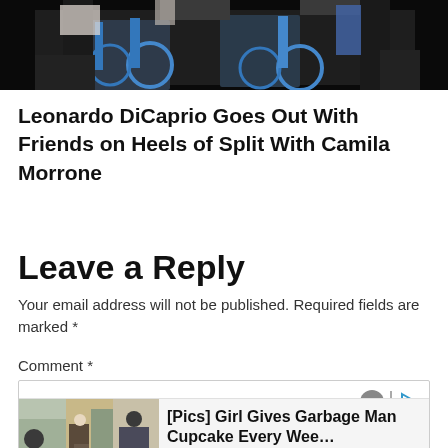[Figure (photo): Photo of people near blue bicycles, cropped showing lower bodies]
Leonardo DiCaprio Goes Out With Friends on Heels of Split With Camila Morrone
Leave a Reply
Your email address will not be published. Required fields are marked *
Comment *
[Figure (screenshot): Comment text box with emoji and formatting icons, and an advertisement overlay showing [Pics] Girl Gives Garbage Man Cupcake Every Wee… Sponsored | HealthyGem]